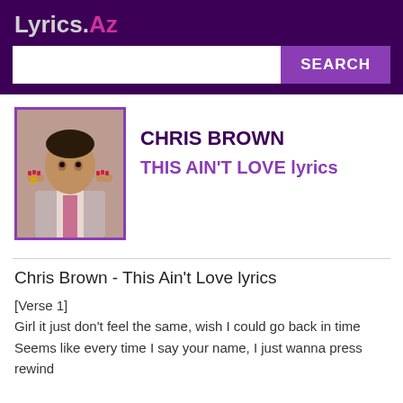Lyrics.Az
CHRIS BROWN
THIS AIN'T LOVE lyrics
[Figure (photo): Photo of Chris Brown with red painted nails, wearing a suit with tie]
Chris Brown - This Ain't Love lyrics
[Verse 1]
Girl it just don't feel the same, wish I could go back in time
Seems like every time I say your name, I just wanna press rewind